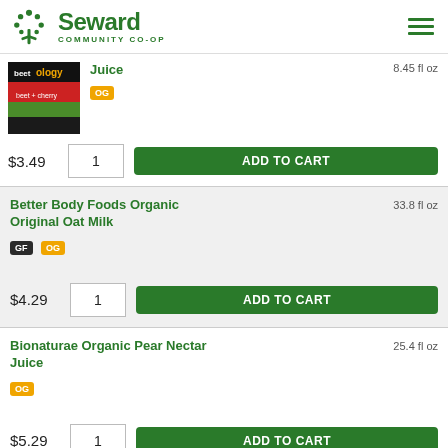Seward Community Co-op
Juice 8.45 fl oz OG $3.49 1 ADD TO CART
Better Body Foods Organic Original Oat Milk 33.8 fl oz GF OG $4.29 1 ADD TO CART
Bionaturae Organic Pear Nectar Juice 25.4 fl oz OG $5.29 1 ADD TO CART